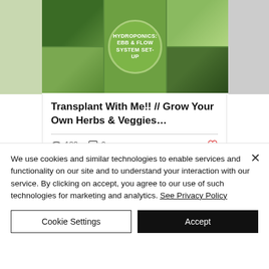[Figure (photo): Blog post thumbnail collage showing hydroponic plants and people gardening, with a circular green badge reading 'HYDROPONICS: EBB & FLOW SYSTEM SET-UP']
Transplant With Me!! // Grow Your Own Herbs & Veggies...
182 views, 0 comments
We use cookies and similar technologies to enable services and functionality on our site and to understand your interaction with our service. By clicking on accept, you agree to our use of such technologies for marketing and analytics. See Privacy Policy